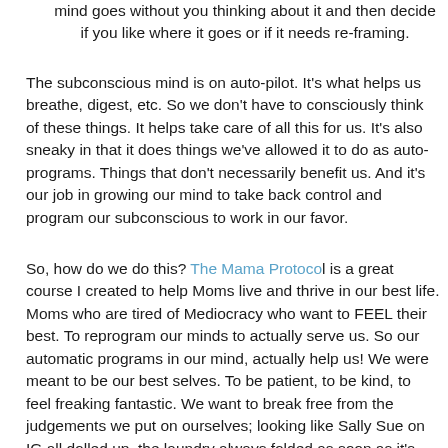mind goes without you thinking about it and then decide if you like where it goes or if it needs re-framing.
The subconscious mind is on auto-pilot. It's what helps us breathe, digest, etc. So we don't have to consciously think of these things. It helps take care of all this for us. It's also sneaky in that it does things we've allowed it to do as auto-programs. Things that don't necessarily benefit us. And it's our job in growing our mind to take back control and program our subconscious to work in our favor.
So, how do we do this? The Mama Protocol is a great course I created to help Moms live and thrive in our best life. Moms who are tired of Mediocracy who want to FEEL their best. To reprogram our minds to actually serve us. So our automatic programs in our mind, actually help us! We were meant to be our best selves. To be patient, to be kind, to feel freaking fantastic. We want to break free from the judgements we put on ourselves; looking like Sally Sue on IG all dolled up, the laundry always folded as soon as it's done. Letting go of the feeling we need to be able to do it all. All the time. That's